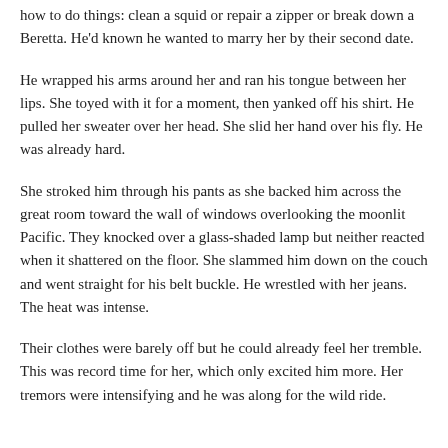how to do things: clean a squid or repair a zipper or break down a Beretta. He'd known he wanted to marry her by their second date.
He wrapped his arms around her and ran his tongue between her lips. She toyed with it for a moment, then yanked off his shirt. He pulled her sweater over her head. She slid her hand over his fly. He was already hard.
She stroked him through his pants as she backed him across the great room toward the wall of windows overlooking the moonlit Pacific. They knocked over a glass-shaded lamp but neither reacted when it shattered on the floor. She slammed him down on the couch and went straight for his belt buckle. He wrestled with her jeans. The heat was intense.
Their clothes were barely off but he could already feel her tremble. This was record time for her, which only excited him more. Her tremors were intensifying and he was along for the wild ride.